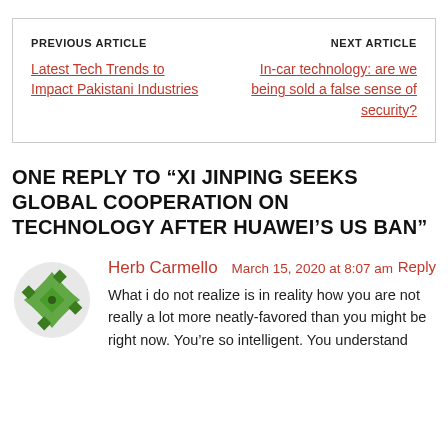PREVIOUS ARTICLE
Latest Tech Trends to Impact Pakistani Industries
NEXT ARTICLE
In-car technology: are we being sold a false sense of security?
ONE REPLY TO “XI JINPING SEEKS GLOBAL COOPERATION ON TECHNOLOGY AFTER HUAWEI’S US BAN”
Herb Carmello   March 15, 2020 at 8:07 am
What i do not realize is in reality how you are not really a lot more neatly-favored than you might be right now. You’re so intelligent. You understand